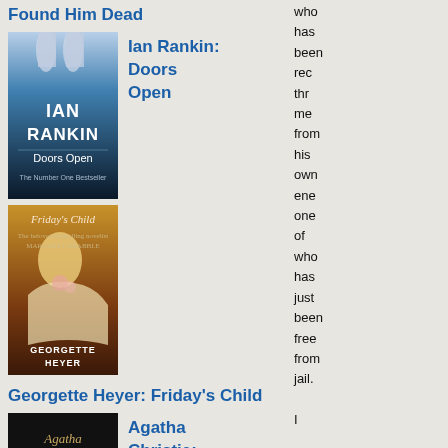Found Him Dead
[Figure (photo): Book cover of Ian Rankin: Doors Open]
Ian Rankin: Doors Open
[Figure (photo): Book cover of Georgette Heyer: Friday's Child]
Georgette Heyer: Friday's Child
[Figure (photo): Book cover of Agatha Christie (title cut off)]
Agatha Christie:
who has been rec thr me from his own ene one of who has just been free from jail. I am not (continues)